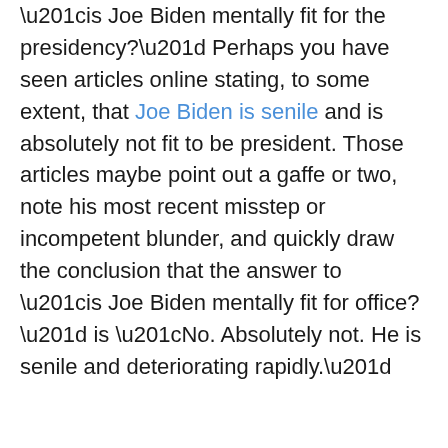“is Joe Biden mentally fit for the presidency?” Perhaps you have seen articles online stating, to some extent, that Joe Biden is senile and is absolutely not fit to be president. Those articles maybe point out a gaffe or two, note his most recent misstep or incompetent blunder, and quickly draw the conclusion that the answer to “is Joe Biden mentally fit for office?” is “No. Absolutely not. He is senile and deteriorating rapidly.”